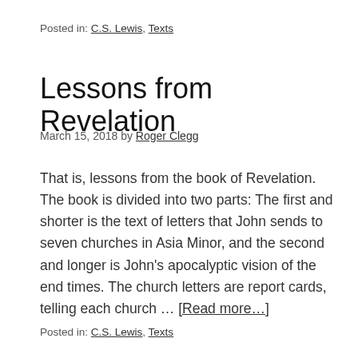Posted in: C.S. Lewis, Texts
Lessons from Revelation
March 15, 2018 by Roger Clegg
That is, lessons from the book of Revelation.  The book is divided into two parts:  The first and shorter is the text of letters that John sends to seven churches in Asia Minor, and the second and longer is John's apocalyptic vision of the end times. The church letters are report cards, telling each church … [Read more…]
Posted in: C.S. Lewis, Texts